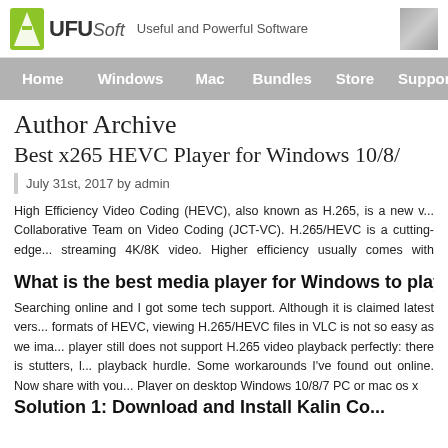UFUSoft - Useful and Powerful Software
Home | Windows | Mac | Bundles | Store | Support
Author Archive
Best x265 HEVC Player for Windows 10/8/...
July 31st, 2017 by admin
High Efficiency Video Coding (HEVC), also known as H.265, is a new video compression standard developed by the Joint Collaborative Team on Video Coding (JCT-VC). H.265/HEVC is a cutting-edge technology for streaming 4K/8K video. Higher efficiency usually comes with complexity that is...
What is the best media player for Windows to play...
Searching online and I got some tech support. Although it is claimed latest versions of VLC support all formats of HEVC, viewing H.265/HEVC files in VLC is not so easy as we imagine. VLC media player still does not support H.265 video playback perfectly: there is stutters, ... playback hurdle. Some workarounds I've found out online. Now share with you... Player on desktop Windows 10/8/7 PC or mac os x
Solution 1: Download and Install Kalin Co...